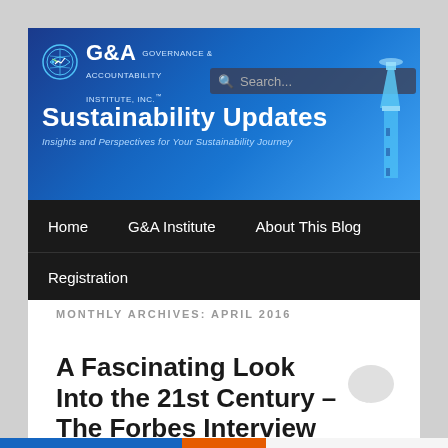[Figure (screenshot): G&A Institute Sustainability Updates blog website screenshot showing header banner with logo, search bar, navigation menu, and article listing for April 2016]
G&A GOVERNANCE & ACCOUNTABILITY INSTITUTE, INC. Sustainability Updates – Insights and Perspectives for Your Sustainability Journey
MONTHLY ARCHIVES: APRIL 2016
A Fascinating Look Into the 21st Century – The Forbes Interview With Hank Boerner by Chris Skroupa